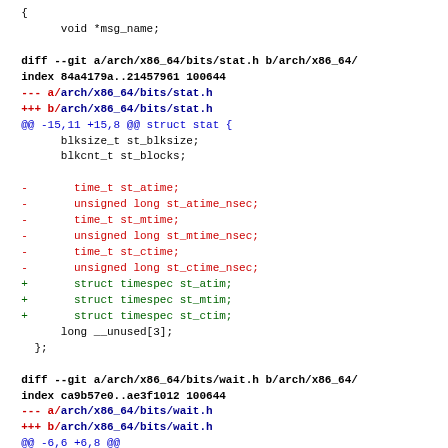{  void *msg_name;

diff --git a/arch/x86_64/bits/stat.h b/arch/x86_64/
index 84a4179a..21457961 100644
--- a/arch/x86_64/bits/stat.h
+++ b/arch/x86_64/bits/stat.h
@@ -15,11 +15,8 @@ struct stat {
        blksize_t st_blksize;
        blkcnt_t st_blocks;

-       time_t st_atime;
-       unsigned long st_atime_nsec;
-       time_t st_mtime;
-       unsigned long st_mtime_nsec;
-       time_t st_ctime;
-       unsigned long st_ctime_nsec;
+       struct timespec st_atim;
+       struct timespec st_mtim;
+       struct timespec st_ctim;
        long __unused[3];
 };

diff --git a/arch/x86_64/bits/wait.h b/arch/x86_64/
index ca9b57e0..ae3f1012 100644
--- a/arch/x86_64/bits/wait.h
+++ b/arch/x86_64/bits/wait.h
@@ -6,6 +6,8 @@
 #define WCONTINUED 8
 #define WNOWAIT    0x1000000